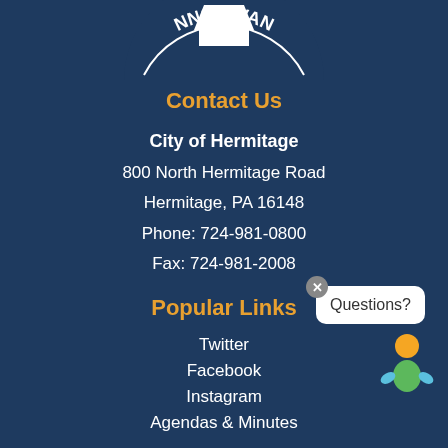[Figure (logo): Partial Pennsylvania state seal/logo showing 'NNSYLVAN' text arc at top]
Contact Us
City of Hermitage
800 North Hermitage Road
Hermitage, PA 16148
Phone: 724-981-0800
Fax: 724-981-2008
Popular Links
Twitter
Facebook
Instagram
Agendas & Minutes
[Figure (illustration): Chat widget with 'Questions?' bubble and a colorful mascot icon (person with orange head, green body, blue arms)]